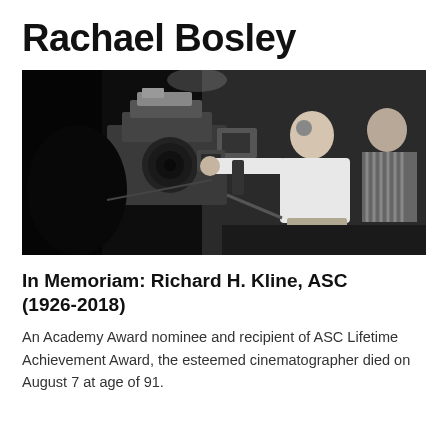Rachael Bosley
[Figure (photo): Black and white photograph of Richard H. Kline operating a large film camera on a movie set, pointing direction while another person sits nearby]
In Memoriam: Richard H. Kline, ASC (1926-2018)
An Academy Award nominee and recipient of ASC Lifetime Achievement Award, the esteemed cinematographer died on August 7 at age of 91.